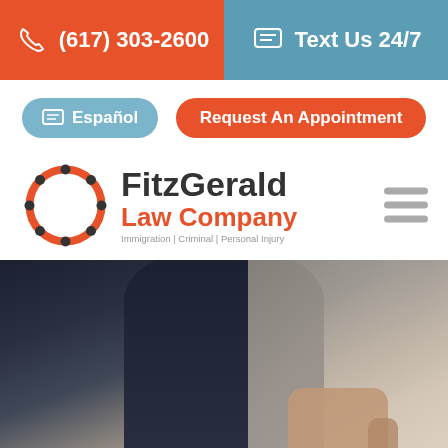(617) 303-2600
Text Us 24/7
Español
Request An Appointment
[Figure (logo): FitzGerald Law Company logo with circular chain icon. Tagline: Immigration | Criminal | Personal Injury]
[Figure (photo): Person in dark suit sitting at desk, partially visible from chest down, hand visible at bottom right]